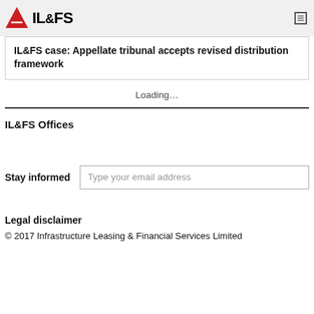IL&FS
IL&FS case: Appellate tribunal accepts revised distribution framework
Loading…
IL&FS Offices
Stay informed
Legal disclaimer
© 2017 Infrastructure Leasing & Financial Services Limited